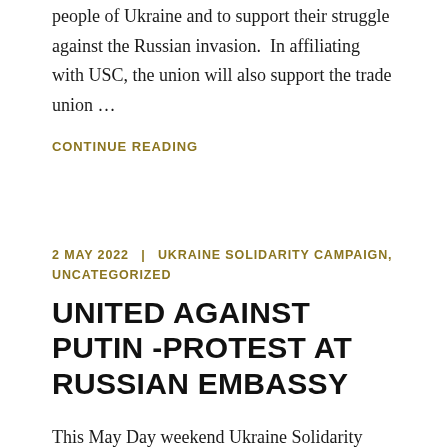people of Ukraine and to support their struggle against the Russian invasion.  In affiliating with USC, the union will also support the trade union …
CONTINUE READING
2 MAY 2022  |  UKRAINE SOLIDARITY CAMPAIGN, UNCATEGORIZED
UNITED AGAINST PUTIN -PROTEST AT RUSSIAN EMBASSY
This May Day weekend Ukraine Solidarity Campaign joined with Russian Against the War in calling a protest at the Russian Embassy on